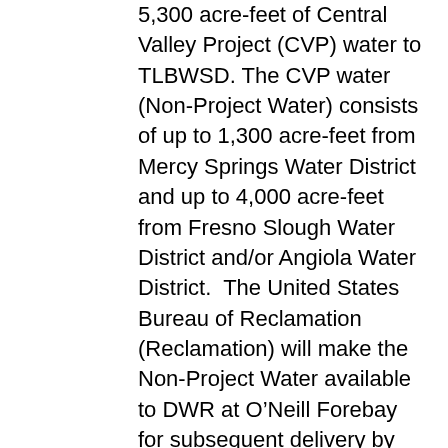5,300 acre-feet of Central Valley Project (CVP) water to TLBWSD. The CVP water (Non-Project Water) consists of up to 1,300 acre-feet from Mercy Springs Water District and up to 4,000 acre-feet from Fresno Slough Water District and/or Angiola Water District.  The United States Bureau of Reclamation (Reclamation) will make the Non-Project Water available to DWR at O’Neill Forebay for subsequent delivery by DWR to TLBWSD’s turnouts in Reaches 8C and 8D of the California Aqueduct under